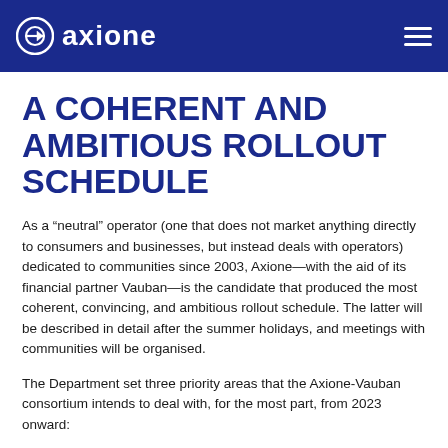axione
A COHERENT AND AMBITIOUS ROLLOUT SCHEDULE
As a “neutral” operator (one that does not market anything directly to consumers and businesses, but instead deals with operators) dedicated to communities since 2003, Axione—with the aid of its financial partner Vauban—is the candidate that produced the most coherent, convincing, and ambitious rollout schedule. The latter will be described in detail after the summer holidays, and meetings with communities will be organised.
The Department set three priority areas that the Axione-Vauban consortium intends to deal with, for the most part, from 2023 onward: